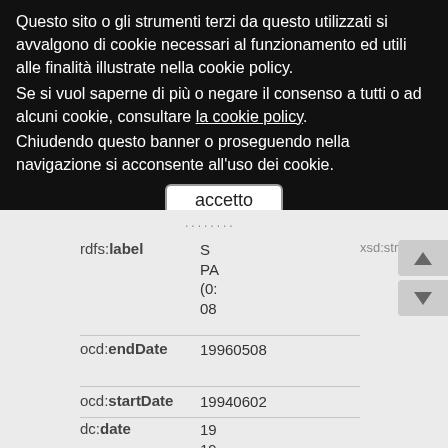Questo sito o gli strumenti terzi da questo utilizzati si avvalgono di cookie necessari al funzionamento ed utili alle finalità illustrate nella cookie policy.
Se si vuol saperne di più o negare il consenso a tutti o ad alcuni cookie, consultare la cookie policy.
Chiudendo questo banner o proseguendo nella navigazione si acconsente all'uso dei cookie.
accetto
...
rdfs:label  S  xsd:string
            PA
            (0:
            08
ocd:endDate  19960508
ocd:startDate  19940602
dc:date  19
         19